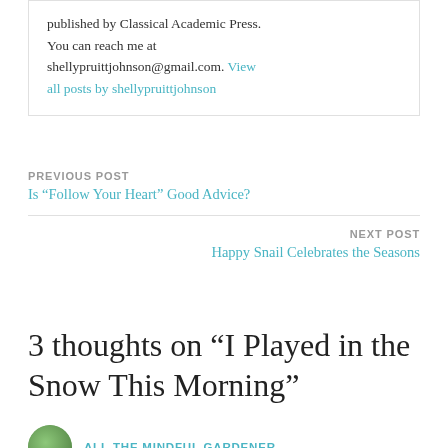published by Classical Academic Press. You can reach me at shellypruittjohnson@gmail.com. View all posts by shellypruittjohnson
PREVIOUS POST
Is “Follow Your Heart” Good Advice?
NEXT POST
Happy Snail Celebrates the Seasons
3 thoughts on “I Played in the Snow This Morning”
ALI, THE MINDFUL GARDENER